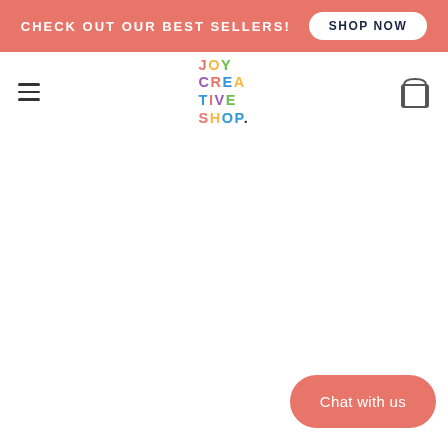CHECK OUT OUR BEST SELLERS! SHOP NOW
[Figure (logo): Joy Creative Shop colorful logo in the navigation bar]
Chat with us